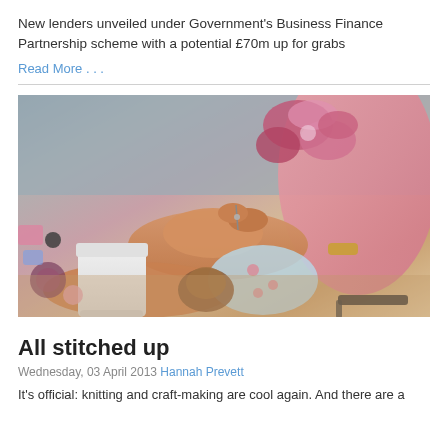New lenders unveiled under Government's Business Finance Partnership scheme with a potential £70m up for grabs
Read More . . .
[Figure (photo): A woman's hands working on a craft or sewing project, with colourful fabric flowers, a white takeaway coffee cup, and craft supplies on a table.]
All stitched up
Wednesday, 03 April 2013 Hannah Prevett
It's official: knitting and craft-making are cool again. And there are a